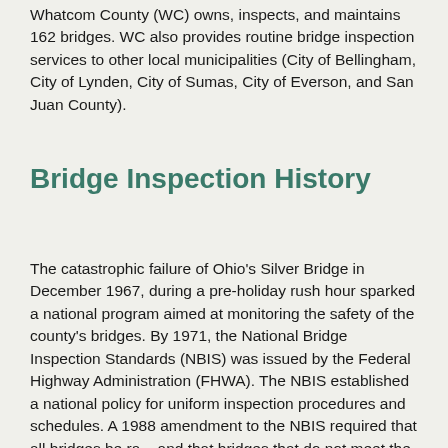Whatcom County (WC) owns, inspects, and maintains 162 bridges. WC also provides routine bridge inspection services to other local municipalities (City of Bellingham, City of Lynden, City of Sumas, City of Everson, and San Juan County).
Bridge Inspection History
The catastrophic failure of Ohio's Silver Bridge in December 1967, during a pre-holiday rush hour sparked a national program aimed at monitoring the safety of the county's bridges. By 1971, the National Bridge Inspection Standards (NBIS) was issued by the Federal Highway Administration (FHWA). The NBIS established a national policy for uniform inspection procedures and schedules. A 1988 amendment to the NBIS required that all bridges be ra... and that bridges that do not meet the standard criteria be posted with their restricted load amounts. Load ratings are